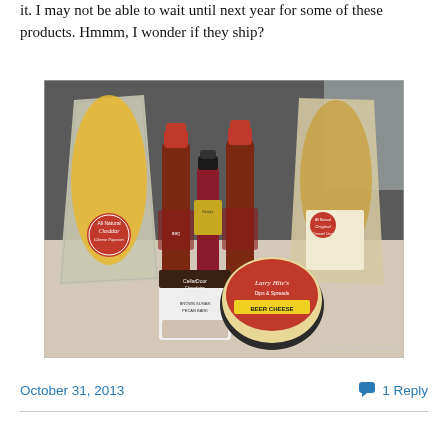it.  I may not be able to wait until next year for some of these products.  Hmmm, I wonder if they ship?
[Figure (photo): A photo showing various food products on a counter: a bag of All Natural Cheddar Cheese Popcorn, two bottles of BBQ sauce with red caps, a smaller bottle (possibly cherry/fruit sauce), another bottle of sauce, a bag of All Natural Original Caramel Corn, a CellarDoor Chocolates package labeled Brown Sugar Pecan Bark, and a round container of Larry Hite's Beer Cheese dip. Watermark reads PicturePerfectCooking.]
October 31, 2013    1 Reply